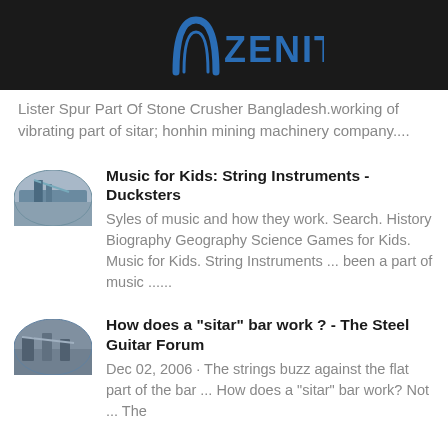[Figure (logo): Zenit logo with blue arch and blue text on dark background]
Lister Spur Part Of Stone Crusher Bangladesh.working of vibrating part of sitar; honhin mining machinery company....
Music for Kids: String Instruments - Ducksters
Syles of music and how they work. Search. History Biography Geography Science Games for Kids. Music for Kids. String Instruments ... been a part of music ......
How does a "sitar" bar work ? - The Steel Guitar Forum
Dec 02, 2006 · The strings buzz against the flat part of the bar ... How does a "sitar" bar work? Not ... The